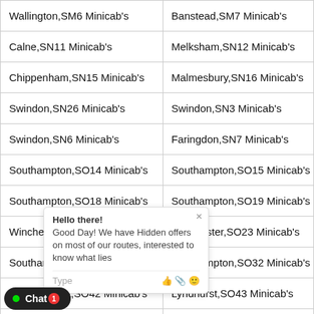| Wallington,SM6 Minicab's | Banstead,SM7 Minicab's |
| Calne,SN11 Minicab's | Melksham,SN12 Minicab's |
| Chippenham,SN15 Minicab's | Malmesbury,SN16 Minicab's |
| Swindon,SN26 Minicab's | Swindon,SN3 Minicab's |
| Swindon,SN6 Minicab's | Faringdon,SN7 Minicab's |
| Southampton,SO14 Minicab's | Southampton,SO15 Minicab's |
| Southampton,SO18 Minicab's | Southampton,SO19 Minicab's |
| Winchester,SO22 Minicab's | Winchester,SO23 Minicab's |
| Southampton,SO31 Minicab's | Southampton,SO32 Minicab's |
| Brockenhurst,SO42 Minicab's | Lyndhurst,SO43 Minicab's |
| Romsey,SO51 Minicab's | Southampton,SO52 Minicab's |
| Andover,SP10 Minicab's | Andover,SP11 Minicab's |
| Salisbury,SP4 Minicab's | Salisbury,SP5 Minicab's |